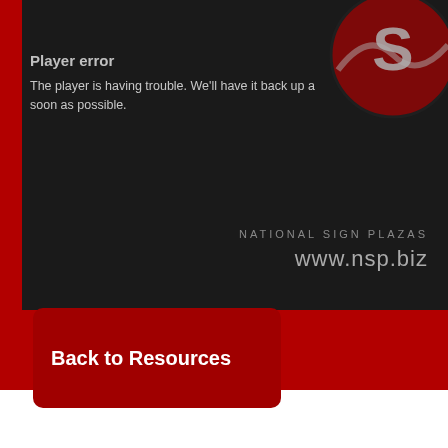[Figure (screenshot): Video player error screen with dark background, red and white sports logo (partially visible), text reading 'Player error - The player is having trouble. We'll have it back up as soon as possible.', and 'NATIONAL SIGN PLAZAS / www.nsp.biz' branding. A red vertical bar is on the left edge. Below the player is a red banner area.]
Back to Resources